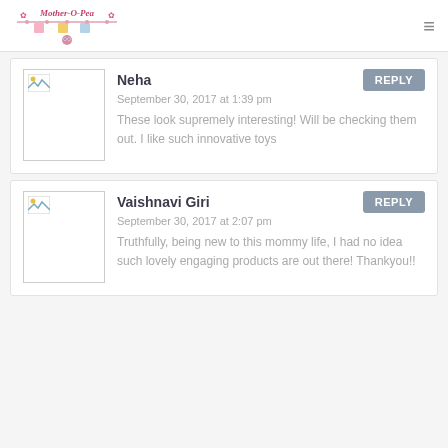Mother-O-Pea logo and navigation
Neha
September 30, 2017 at 1:39 pm
These look supremely interesting! Will be checking them out. I like such innovative toys
Vaishnavi Giri
September 30, 2017 at 2:07 pm
Truthfully, being new to this mommy life, I had no idea such lovely engaging products are out there! Thankyou!!